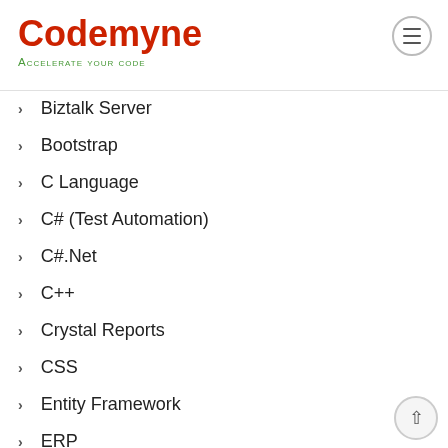Codemyne
Accelerate your code
Biztalk Server
Bootstrap
C Language
C# (Test Automation)
C#.Net
C++
Crystal Reports
CSS
Entity Framework
ERP
HTML
Interview Questions (Testing)